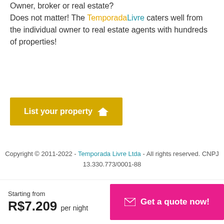Want to advertise your property? Owner, broker or real estate? Does not matter! The TemporadaLivre caters well from the individual owner to real estate agents with hundreds of properties!
[Figure (other): Yellow 'List your property' button with house icon]
Copyright © 2011-2022 - Temporada Livre Ltda - All rights reserved. CNPJ 13.330.773/0001-88
Starting from R$7.209 per night
Get a quote now!